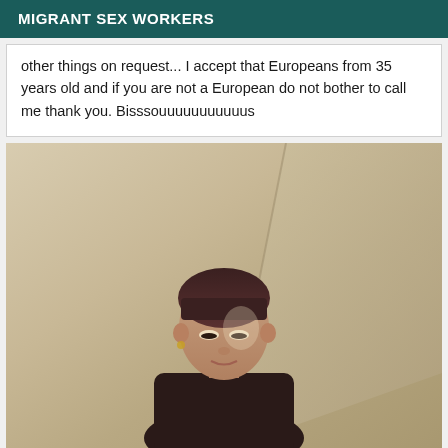MIGRANT SEX WORKERS
other things on request... I accept that Europeans from 35 years old and if you are not a European do not bother to call me thank you. Bisssouuuuuuuuuuus
[Figure (photo): Photo of a woman with dark hair and bangs, photographed from a low angle in a room with beige/cream walls]